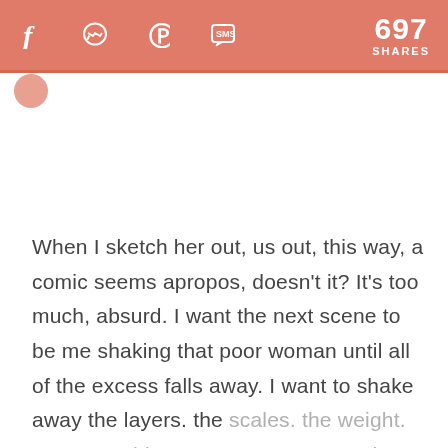697 SHARES — social share bar with Facebook, Messenger, Pinterest, SMS icons
When I sketch her out, us out, this way, a comic seems apropos, doesn't it? It's too much, absurd. I want the next scene to be me shaking that poor woman until all of the excess falls away. I want to shake away the layers. the scales. the weight. So many shiny extras so many good things that were never meant to be